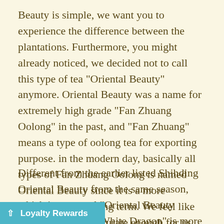Beauty is simple, we want you to experience the difference between the plantations. Furthermore, you might already noticed, we decided not to call this type of tea "Oriental Beauty" anymore. Oriental Beauty was a name for extremely high grade "Fan Zhuang Oolong" in the past, and "Fan Zhuang" means a type of oolong tea for exporting purpose. in the modern day, basically all types of Fan Zhuang Oolong is named Oriental Beauty since it is a more convenient marketing term. We feel like this is no longer accurate enough for us, and therefore the name "Bai Hao Oolong" (白毫烏龍) is applied.
Different from the earlier listed Shihding Oriental Beauty from the same season, which is an actual "Oriental Beauty Oolong Tea" this "White Dragon" is more affordable with an ... again, this is not an Oriental Beauty, but